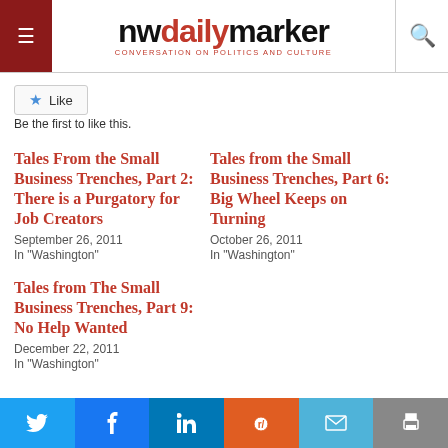nwdailymarker — CONVERSATION ON POLITICS AND CULTURE
Like
Be the first to like this.
Tales From the Small Business Trenches, Part 2: There is a Purgatory for Job Creators
September 26, 2011
In "Washington"
Tales from the Small Business Trenches, Part 6: Big Wheel Keeps on Turning
October 26, 2011
In "Washington"
Tales from The Small Business Trenches, Part 9: No Help Wanted
December 22, 2011
In "Washington"